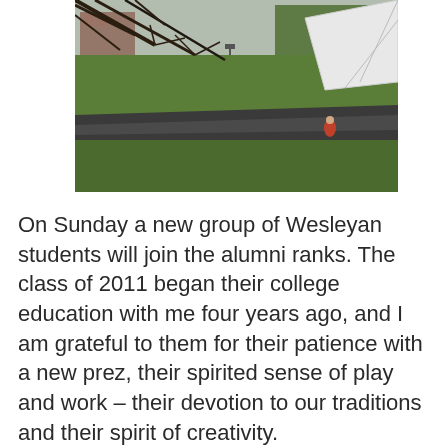[Figure (photo): Outdoor campus photo showing green lawn, a winding road/path, trees with bare branches in the foreground, a white tent structure on the right, and a brick building on the upper left. Overcast sky. A person in a red jacket is visible near the road.]
On Sunday a new group of Wesleyan students will join the alumni ranks. The class of 2011 began their college education with me four years ago, and I am grateful to them for their patience with a new prez, their spirited sense of play and work – their devotion to our traditions and their spirit of creativity.